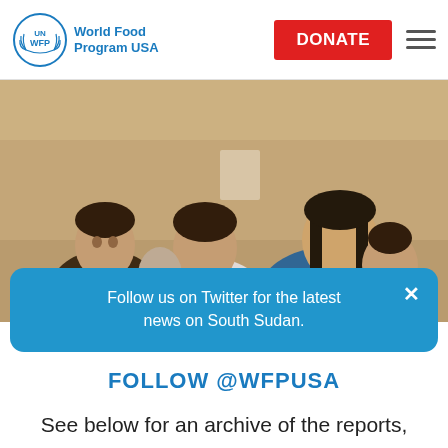UN WFP World Food Program USA | DONATE
[Figure (photo): A woman in a blue WFP jacket sits beside schoolchildren in a classroom, smiling at the camera. Children in white school uniforms sit at wooden desks in the background.]
Follow us on Twitter for the latest news on South Sudan.
FOLLOW @WFPUSA
See below for an archive of the reports,